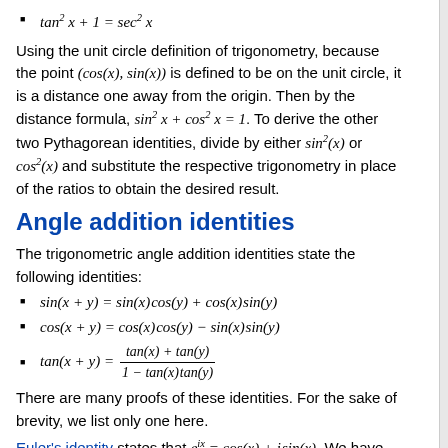tan² x + 1 = sec² x
Using the unit circle definition of trigonometry, because the point (cos(x), sin(x)) is defined to be on the unit circle, it is a distance one away from the origin. Then by the distance formula, sin² x + cos² x = 1. To derive the other two Pythagorean identities, divide by either sin²(x) or cos²(x) and substitute the respective trigonometry in place of the ratios to obtain the desired result.
Angle addition identities
The trigonometric angle addition identities state the following identities:
sin(x + y) = sin(x) cos(y) + cos(x) sin(y)
cos(x + y) = cos(x) cos(y) − sin(x) sin(y)
tan(x + y) = (tan(x) + tan(y)) / (1 − tan(x) tan(y))
There are many proofs of these identities. For the sake of brevity, we list only one here.
Euler's identity states that e^(ix) = cos(x) + i sin(x). We have